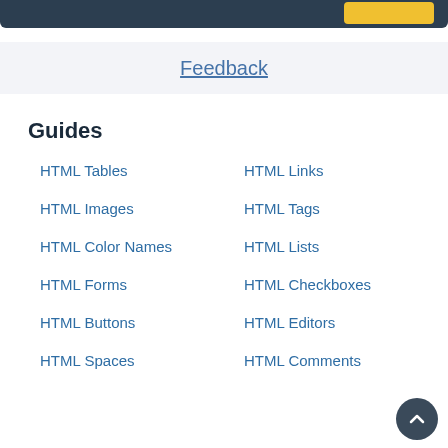Feedback
Guides
HTML Tables
HTML Links
HTML Images
HTML Tags
HTML Color Names
HTML Lists
HTML Forms
HTML Checkboxes
HTML Buttons
HTML Editors
HTML Spaces
HTML Comments